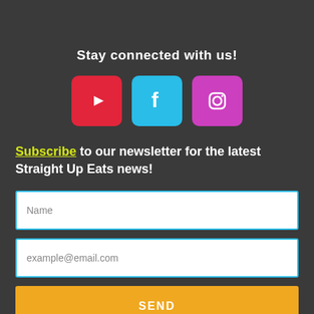Stay connected with us!
[Figure (infographic): Three social media icons: YouTube (red), Facebook (light blue), Instagram (purple/magenta)]
Subscribe to our newsletter for the latest Straight Up Eats news!
Name
example@email.com
SEND